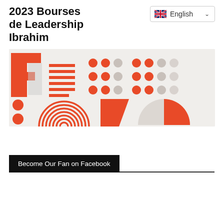2023 Bourses de Leadership Ibrahim
[Figure (other): UK flag icon with English language selector dropdown]
[Figure (illustration): Fellows graphic banner with abstract geometric shapes in orange and grey spelling out FELLOWS in a stylized typographic design]
Become Our Fan on Facebook